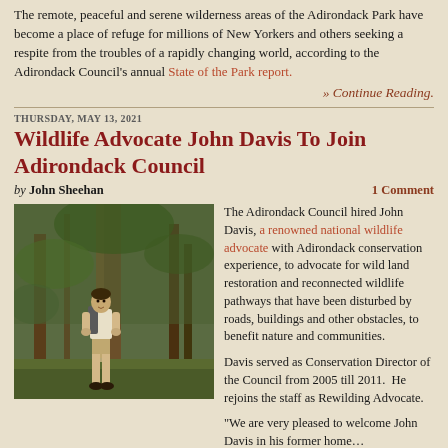The remote, peaceful and serene wilderness areas of the Adirondack Park have become a place of refuge for millions of New Yorkers and others seeking a respite from the troubles of a rapidly changing world, according to the Adirondack Council's annual State of the Park report.
» Continue Reading.
THURSDAY, MAY 13, 2021
Wildlife Advocate John Davis To Join Adirondack Council
by John Sheehan   1 Comment
[Figure (photo): Man standing in a forest wearing a white shirt, shorts, and a backpack, surrounded by trees and green foliage]
The Adirondack Council hired John Davis, a renowned national wildlife advocate with Adirondack conservation experience, to advocate for wild land restoration and reconnected wildlife pathways that have been disturbed by roads, buildings and other obstacles, to benefit nature and communities.
Davis served as Conservation Director of the Council from 2005 till 2011.  He rejoins the staff as Rewilding Advocate.
“We are very pleased to welcome John Davis in his former home…